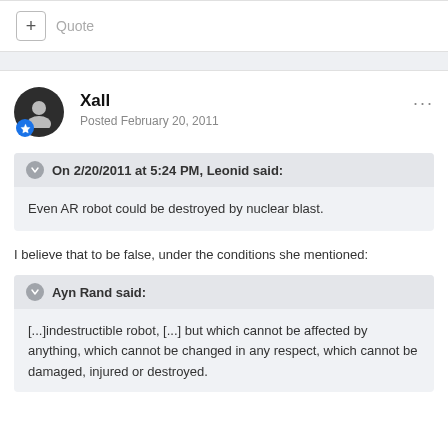+ Quote
Xall
Posted February 20, 2011
On 2/20/2011 at 5:24 PM, Leonid said:
Even AR robot could be destroyed by nuclear blast.
I believe that to be false, under the conditions she mentioned:
Ayn Rand said:
[...]indestructible robot, [...] but which cannot be affected by anything, which cannot be changed in any respect, which cannot be damaged, injured or destroyed.